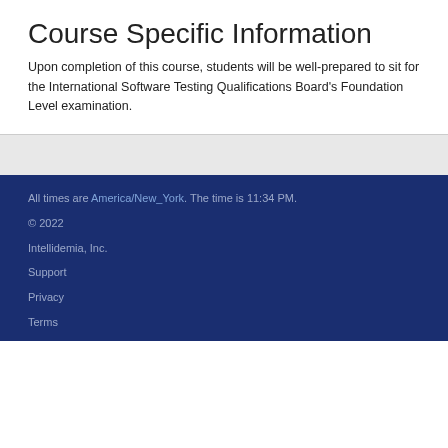Course Specific Information
Upon completion of this course, students will be well-prepared to sit for the International Software Testing Qualifications Board's Foundation Level examination.
All times are America/New_York. The time is 11:34 PM.
© 2022
Intellidemia, Inc.
Support
Privacy
Terms